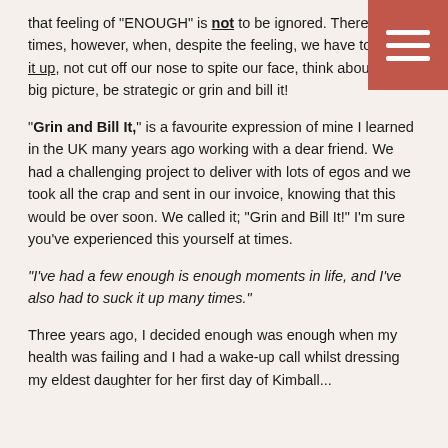that feeling of "ENOUGH" is not to be ignored. There are times, however, when, despite the feeling, we have to; suck it up, not cut off our nose to spite our face, think about the big picture, be strategic or grin and bill it!
"Grin and Bill It," is a favourite expression of mine I learned in the UK many years ago working with a dear friend. We had a challenging project to deliver with lots of egos and we took all the crap and sent in our invoice, knowing that this would be over soon. We called it; "Grin and Bill It!" I'm sure you've experienced this yourself at times.
"I've had a few enough is enough moments in life, and I've also had to suck it up many times."
Three years ago, I decided enough was enough when my health was failing and I had a wake-up call whilst dressing my eldest daughter for her first day of Kimball...